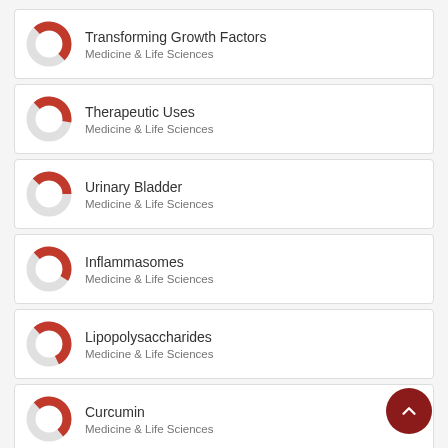Transforming Growth Factors — Medicine & Life Sciences
Therapeutic Uses — Medicine & Life Sciences
Urinary Bladder — Medicine & Life Sciences
Inflammasomes — Medicine & Life Sciences
Lipopolysaccharides — Medicine & Life Sciences
Curcumin — Medicine & Life Sciences
Interleukin-1 — Medicine & Life Sciences